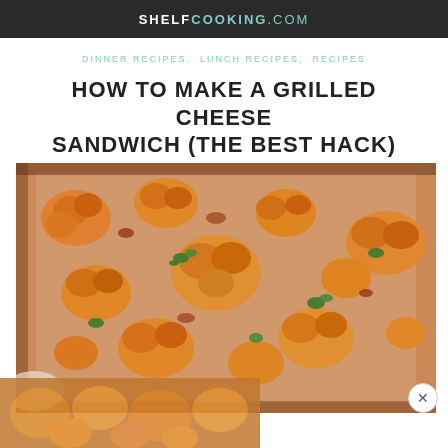SHELFCOOKING.COM
DINNER RECIPES, LUNCH RECIPES, RECIPES
HOW TO MAKE A GRILLED CHEESE SANDWICH (THE BEST HACK)
[Figure (photo): Overhead photo of roasted cauliflower florets with red sauce and fresh herbs (cilantro/parsley) in a baking pan on a white surface]
[Figure (photo): Partially visible overlay photo of similar roasted cauliflower dish at bottom of page]